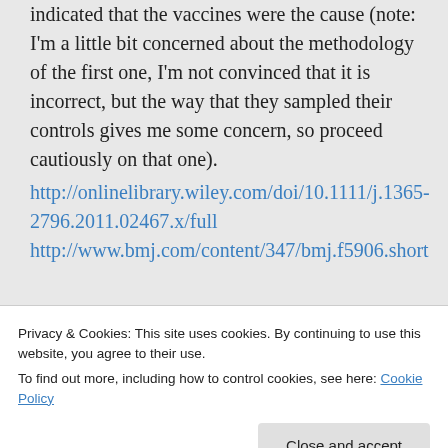indicated that the vaccines were the cause (note: I'm a little bit concerned about the methodology of the first one, I'm not convinced that it is incorrect, but the way that they sampled their controls gives me some concern, so proceed cautiously on that one).
http://onlinelibrary.wiley.com/doi/10.1111/j.1365-2796.2011.02467.x/full http://www.bmj.com/content/347/bmj.f5906.short
Privacy & Cookies: This site uses cookies. By continuing to use this website, you agree to their use.
To find out more, including how to control cookies, see here: Cookie Policy
particular vaccines or particular side